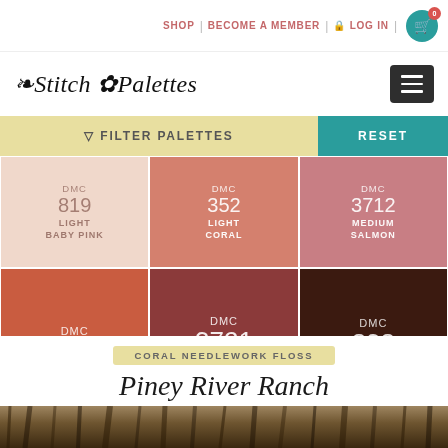SHOP | BECOME A MEMBER | LOG IN
Stitch Palettes
FILTER PALETTES   RESET
[Figure (infographic): Color swatch grid showing 6 DMC thread colors: DMC 819 Light Baby Pink, DMC 352 Light Coral, DMC 3712 Medium Salmon, DMC 351 Coral, DMC 3721 Dark Shell Pink, DMC 838 Very Dark Beige Brown]
CORAL NEEDLEWORK FLOSS
Piney River Ranch
31 AUG 2020 • NO. SPA0404